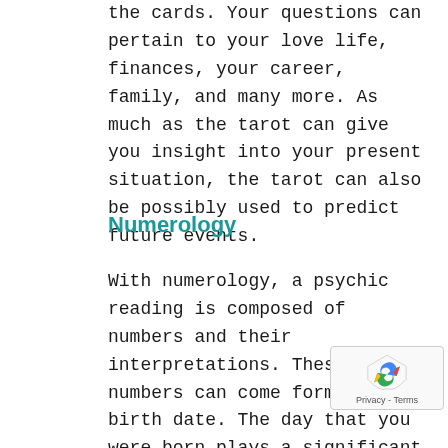the cards. Your questions can pertain to your love life, finances, your career, family, and many more. As much as the tarot can give you insight into your present situation, the tarot can also be possibly used to predict future events.
Numerology
With numerology, a psychic reading is composed of numbers and their interpretations. These numbers can come form your birth date. The day that you were born plays a significant role in determining your personality as well as your life cycle or pattern that your life follows. This type of psychic reading also makes use of numbers assigned to the letters of your name, which